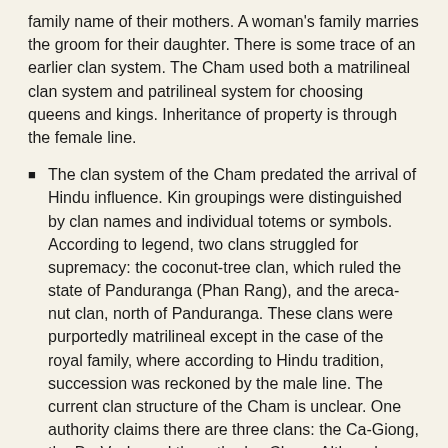family name of their mothers. A woman's family marries the groom for their daughter. There is some trace of an earlier clan system. The Cham used both a matrilineal clan system and patrilineal system for choosing queens and kings. Inheritance of property is through the female line.
The clan system of the Cham predated the arrival of Hindu influence. Kin groupings were distinguished by clan names and individual totems or symbols. According to legend, two clans struggled for supremacy: the coconut-tree clan, which ruled the state of Panduranga (Phan Rang), and the areca-nut clan, north of Panduranga. These clans were purportedly matrilineal except in the case of the royal family, where according to Hindu tradition, succession was reckoned by the male line. The current clan structure of the Cham is unclear. One authority claims there are three clans: the Ca-Giong, the Da-Vach, and the orthodox Cham. Although differences in dialect have been reported, the mores and customs of all these Cham are practically identical. [Source: "Selected Groups in the Republic of Vietnam: The Cham", Special Operations Research Office (SORO) of The American University, 1960s **]
Both men and women share many labor-related activities